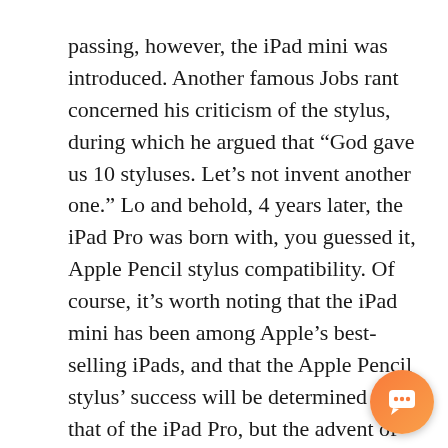passing, however, the iPad mini was introduced. Another famous Jobs rant concerned his criticism of the stylus, during which he argued that “God gave us 10 styluses. Let’s not invent another one.” Lo and behold, 4 years later, the iPad Pro was born with, you guessed it, Apple Pencil stylus compatibility. Of course, it’s worth noting that the iPad mini has been among Apple’s best-selling iPads, and that the Apple Pencil stylus’ success will be determined by that of the iPad Pro, but the advent of such devices just serves as another example of how the company’s strategies have changed since Jobs’ passing.
Ultimately, however, it’s perceived innova… that fuels public excitement. As previously … the iPad…
[Figure (other): Orange circular chat button with a speech bubble icon in the bottom right corner]